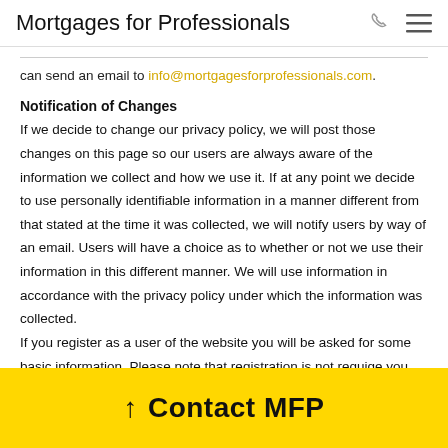Mortgages for Professionals
can send an email to info@mortgagesforprofessionals.com.
Notification of Changes
If we decide to change our privacy policy, we will post those changes on this page so our users are always aware of the information we collect and how we use it. If at any point we decide to use personally identifiable information in a manner different from that stated at the time it was collected, we will notify users by way of an email. Users will have a choice as to whether or not we use their information in this different manner. We will use information in accordance with the privacy policy under which the information was collected.
If you register as a user of the website you will be asked for some basic information. Please note that registration is not requ... ige you ... cont... .cal
↑ Contact MFP